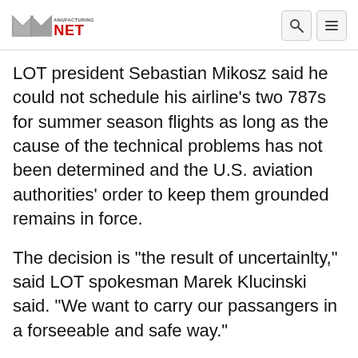Manufacturing NET
LOT president Sebastian Mikosz said he could not schedule his airline's two 787s for summer season flights as long as the cause of the technical problems has not been determined and the U.S. aviation authorities' order to keep them grounded remains in force.
The decision is "the result of uncertainlty," said LOT spokesman Marek Klucinski said. "We want to carry our passangers in a forseeable and safe way."
The decision is a blow to Poland's national carrier, which is cutting costs and planning mass layoffs in an effort to survive. LOT is Europe's first airline to have Dreamliners, which it had hoped would